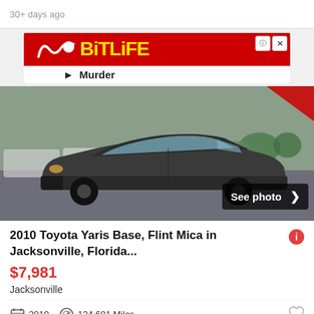30+ days ago
[Figure (screenshot): BitLife advertisement banner with red background, yellow BitLife logo text, squiggle icon, and 'Murder' text partially visible at bottom]
[Figure (photo): Dark gray 2010 Toyota Yaris Base sedan in a dealership parking lot, with 'See photo >' overlay button in bottom right corner]
2010 Toyota Yaris Base, Flint Mica in Jacksonville, Florida...
$7,981
Jacksonville
2010  134,681 Miles